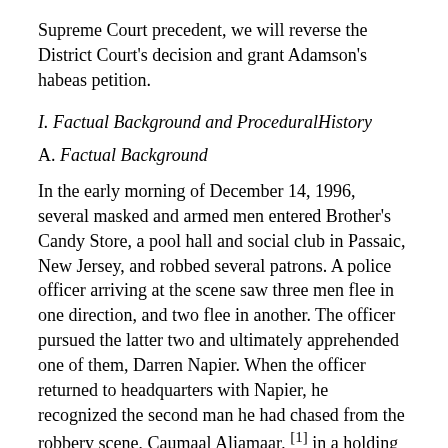Supreme Court precedent, we will reverse the District Court's decision and grant Adamson's habeas petition.
I. Factual Background and ProceduralHistory
A. Factual Background
In the early morning of December 14, 1996, several masked and armed men entered Brother's Candy Store, a pool hall and social club in Passaic, New Jersey, and robbed several patrons. A police officer arriving at the scene saw three men flee in one direction, and two flee in another. The officer pursued the latter two and ultimately apprehended one of them, Darren Napier. When the officer returned to headquarters with Napier, he recognized the second man he had chased from the robbery scene, Caumaal Aliamaar, [1] in a holding